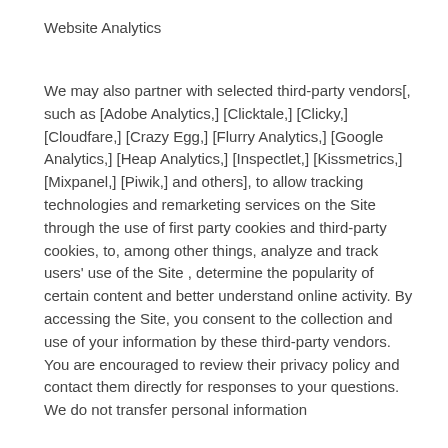Website Analytics
We may also partner with selected third-party vendors[, such as [Adobe Analytics,] [Clicktale,] [Clicky,] [Cloudfare,] [Crazy Egg,] [Flurry Analytics,] [Google Analytics,] [Heap Analytics,] [Inspectlet,] [Kissmetrics,] [Mixpanel,] [Piwik,] and others], to allow tracking technologies and remarketing services on the Site through the use of first party cookies and third-party cookies, to, among other things, analyze and track users' use of the Site , determine the popularity of certain content and better understand online activity. By accessing the Site, you consent to the collection and use of your information by these third-party vendors. You are encouraged to review their privacy policy and contact them directly for responses to your questions. We do not transfer personal information